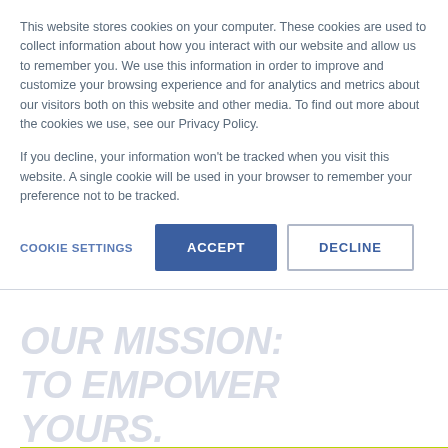This website stores cookies on your computer. These cookies are used to collect information about how you interact with our website and allow us to remember you. We use this information in order to improve and customize your browsing experience and for analytics and metrics about our visitors both on this website and other media. To find out more about the cookies we use, see our Privacy Policy.
If you decline, your information won't be tracked when you visit this website. A single cookie will be used in your browser to remember your preference not to be tracked.
COOKIE SETTINGS
ACCEPT
DECLINE
OUR MISSION:
TO EMPOWER YOURS.